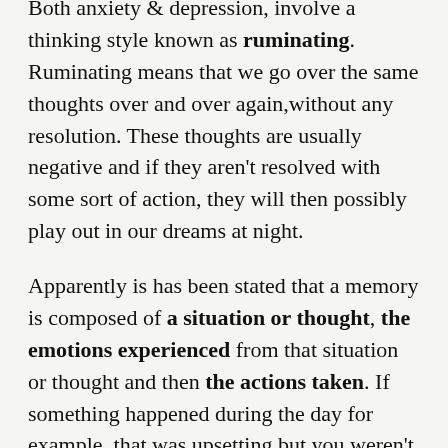Both anxiety & depression, involve a thinking style known as ruminating. Ruminating means that we go over the same thoughts over and over again,without any resolution. These thoughts are usually negative and if they aren't resolved with some sort of action, they will then possibly play out in our dreams at night.
Apparently is has been stated that a memory is composed of a situation or thought, the emotions experienced from that situation or thought and then the actions taken. If something happened during the day for example, that was upsetting but you weren't able to resolve the situation in some way, then this will most likely linger until you go to bed